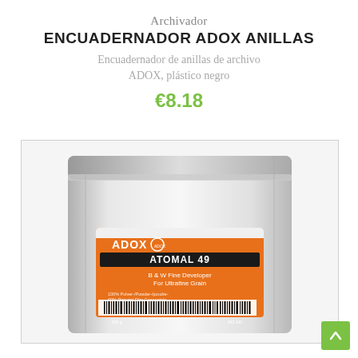Archivador
ENCUADERNADOR ADOX ANILLAS
Encuadernador de anillas de archivo ADOX, plástico negro
€8.18
[Figure (photo): Product photo of an ADOX Atomal 49 film developer powder package in a silver metallic resealable bag with an orange label showing the ADOX logo, product name ATOMAL 49, description text, and a barcode.]